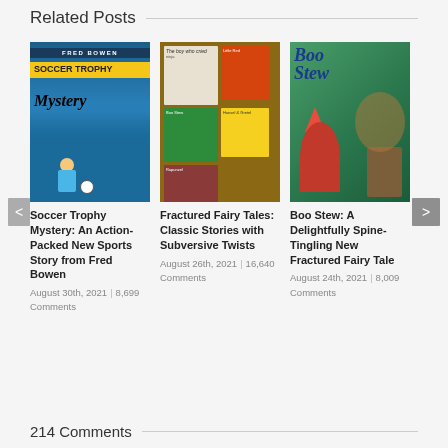Related Posts
[Figure (photo): Book cover: Soccer Trophy Mystery by Fred Bowen, showing soccer players and a ball on a blue background]
Soccer Trophy Mystery: An Action-Packed New Sports Story from Fred Bowen
August 30th, 2021  |  8,699 Comments
[Figure (photo): Photo of multiple children's book covers including Fractured Fairy Tales, Boo Stew, and others spread on a wooden surface]
Fractured Fairy Tales: Classic Stories with Subversive Twists
August 26th, 2021  |  16,640 Comments
[Figure (photo): Book cover: Boo Stew, showing gnome characters around a cauldron on a green background]
Boo Stew: A Delightfully Spine-Tingling New Fractured Fairy Tale
August 24th, 2021  |  8,009 Comments
214 Comments